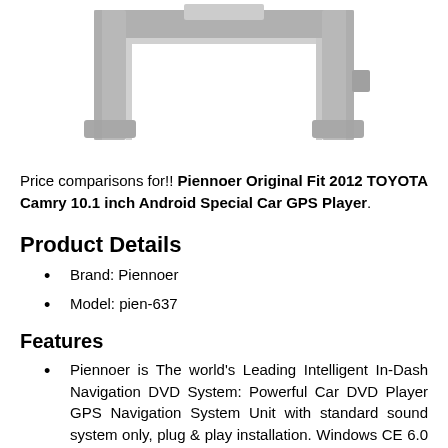[Figure (photo): Gray car dashboard bracket/frame component, U-shaped metal trim piece shown from above against white background]
Price comparisons for!! Piennoer Original Fit 2012 TOYOTA Camry 10.1 inch Android Special Car GPS Player.
Product Details
Brand: Piennoer
Model: pien-637
Features
Piennoer is The world's Leading Intelligent In-Dash Navigation DVD System: Powerful Car DVD Player GPS Navigation System Unit with standard sound system only, plug & play installation. Windows CE 6.0 / 600Mhz CPU /